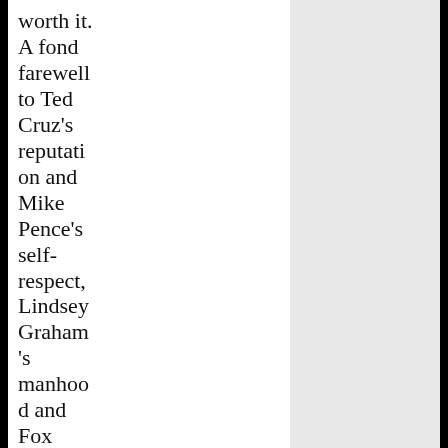worth it. A fond farewell to Ted Cruz's reputation and Mike Pence's self-respect, Lindsey Graham's manhood and Fox News's business model. In with "Dr." Jill Biden, out with